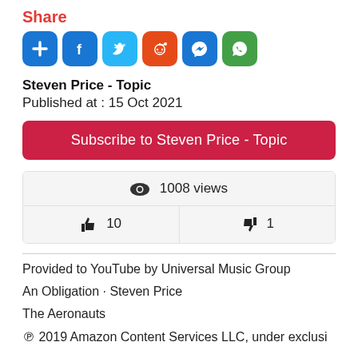Share
[Figure (infographic): Row of 6 social share icons: Add/Plus (blue), Facebook (blue), Twitter (light blue), Reddit (orange), Messenger (blue), WhatsApp (green)]
Steven Price - Topic
Published at : 15 Oct 2021
Subscribe to Steven Price - Topic
1008 views
10   1
Provided to YouTube by Universal Music Group
An Obligation · Steven Price
The Aeronauts
℗ 2019 Amazon Content Services LLC, under exclusi